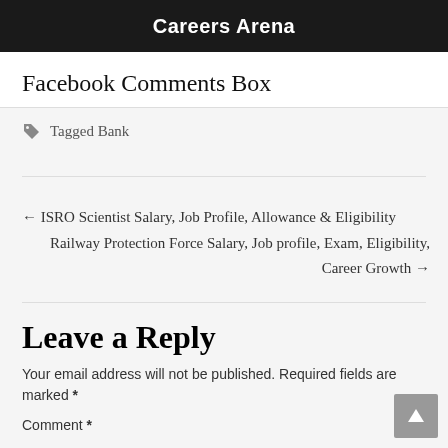Careers Arena
Facebook Comments Box
Tagged Bank
← ISRO Scientist Salary, Job Profile, Allowance & Eligibility
Railway Protection Force Salary, Job profile, Exam, Eligibility, Career Growth →
Leave a Reply
Your email address will not be published. Required fields are marked *
Comment *